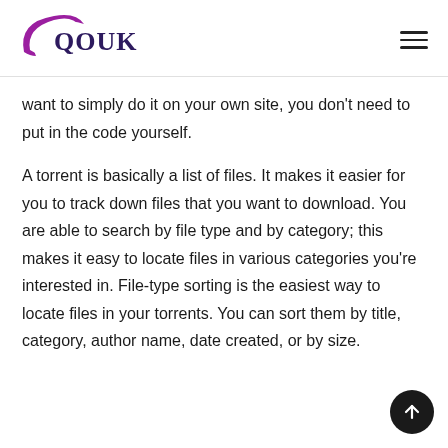[Figure (logo): QOUK logo with purple swoosh arc to the left of the text QOUK in dark navy/purple serif font]
want to simply do it on your own site, you don't need to put in the code yourself.
A torrent is basically a list of files. It makes it easier for you to track down files that you want to download. You are able to search by file type and by category; this makes it easy to locate files in various categories you're interested in. File-type sorting is the easiest way to locate files in your torrents. You can sort them by title, category, author name, date created, or by size.